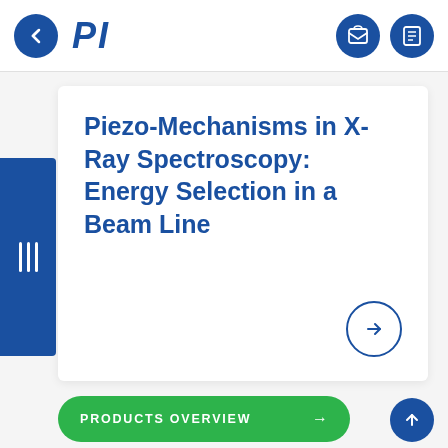PI
Piezo-Mechanisms in X-Ray Spectroscopy: Energy Selection in a Beam Line
PRODUCTS OVERVIEW →
ABOUT PI →